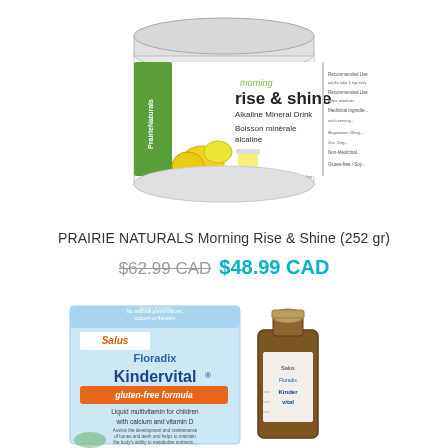[Figure (photo): Prairie Naturals Morning Rise & Shine Alkaline Mineral Drink 252g powder jar with lemon imagery]
PRAIRIE NATURALS Morning Rise & Shine (252 gr)
$62.99 CAD  $48.99 CAD
[Figure (photo): Salus Floradix Kindervital gluten-free formula liquid multivitamin box and brown glass bottle]